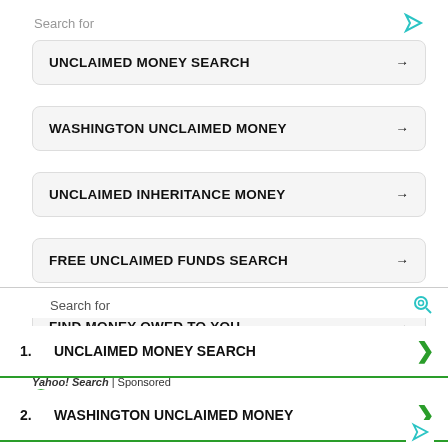Search for
UNCLAIMED MONEY SEARCH →
WASHINGTON UNCLAIMED MONEY →
UNCLAIMED INHERITANCE MONEY →
FREE UNCLAIMED FUNDS SEARCH →
FIND MONEY OWED TO YOU →
Yahoo! Search | Sponsored
ezoic   report this ad
Recent Posts
Search for
1. UNCLAIMED MONEY SEARCH
2. WASHINGTON UNCLAIMED MONEY